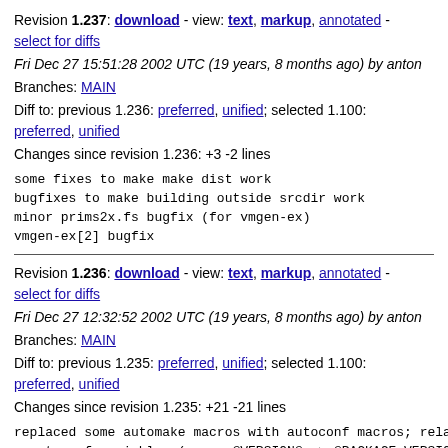Revision 1.237: download - view: text, markup, annotated - select for diffs
Fri Dec 27 15:51:28 2002 UTC (19 years, 8 months ago) by anton
Branches: MAIN
Diff to: previous 1.236: preferred, unified; selected 1.100: preferred, unified
Changes since revision 1.236: +3 -2 lines
some fixes to make make dist work
bugfixes to make building outside srcdir work
minor prims2x.fs bugfix (for vmgen-ex)
vmgen-ex[2] bugfix
Revision 1.236: download - view: text, markup, annotated - select for diffs
Fri Dec 27 12:32:52 2002 UTC (19 years, 8 months ago) by anton
Branches: MAIN
Diff to: previous 1.235: preferred, unified; selected 1.100: preferred, unified
Changes since revision 1.235: +21 -21 lines
replaced some automake macros with autoconf macros; relat
  autoconf variables (e.g., @VERSION@ -> @PACKAGE_VERSION
gforth-prof and gforth-native are now not built by defau
modernized "Automatic Remaking" section of Makefile.in
Updated bug reporting instructions